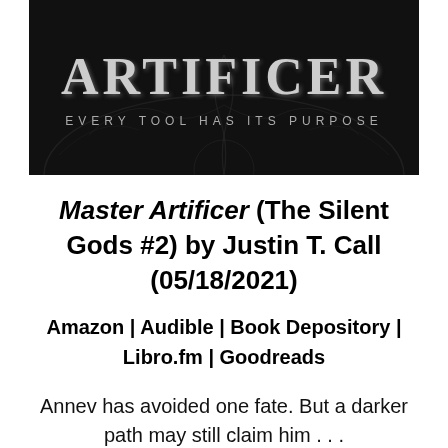[Figure (illustration): Book cover image for Master Artificer with dark background, decorative swirl/tree motif, large text 'ARTIFICER' and subtitle 'EVERY TOOL HAS ITS PURPOSE']
Master Artificer (The Silent Gods #2) by Justin T. Call (05/18/2021)
Amazon | Audible | Book Depository | Libro.fm | Goodreads
Annev has avoided one fate. But a darker path may still claim him . . .